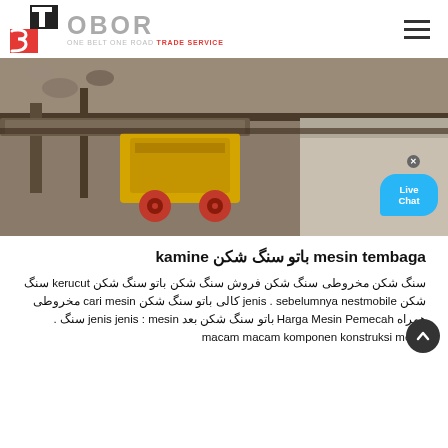[Figure (logo): TS OBOR logo - ONE BELT ONE ROAD TRADE SERVICE with TS icon in red and black]
[Figure (photo): Industrial mining/crushing machinery - yellow crusher equipment with conveyor belts and stone aggregates, with a Live Chat bubble overlay in the bottom right]
mesin tembaga باتو سنگ شکن kamine
سنگ شکن مخروطی سنگ شکن فروش سنگ شکن باتو سنگ شکن kerucut سنگ شکن jenis . sebelumnya nestmobile کالی باتو سنگ شکن cari mesin مخروطی همراه Harga Mesin Pemecah باتو سنگ شکن بعد jenis jenis : mesin سنگ . macam macam komponen konstruksi mesin